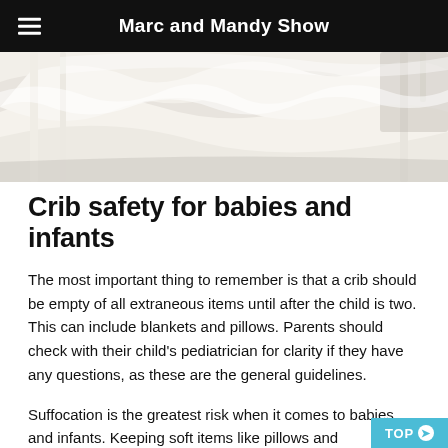Marc and Mandy Show
[Figure (photo): Close-up photo of a white crib with rumpled white bedding/blankets, showing crib bars on the sides]
Crib safety for babies and infants
The most important thing to remember is that a crib should be empty of all extraneous items until after the child is two. This can include blankets and pillows. Parents should check with their child's pediatrician for clarity if they have any questions, as these are the general guidelines.
Suffocation is the greatest risk when it comes to babies and infants. Keeping soft items like pillows and blankets out of their cribs is an effective way to decrease this risk. This